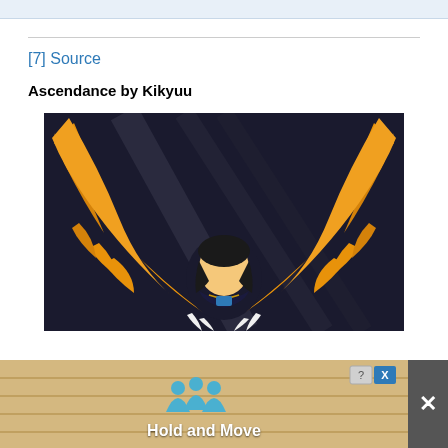[7] Source
Ascendance by Kikyuu
[Figure (illustration): Anime-style illustration titled 'Ascendance by Kikyuu'. A character with dark hair is shown from above, surrounded by large golden/yellow wings spread wide. The background is dark with diagonal light streaks. The character wears a dark outfit with blue and gold details, and small white feathers are visible at the bottom.]
[Figure (screenshot): Advertisement banner showing 'Hold and Move' text in white bold font on a tan/wood-pattern background. Two blue cartoon character figures are shown. The ad has a close button (X) and help icon (?) in the top right corner. A grey X button appears to the right of the ad.]